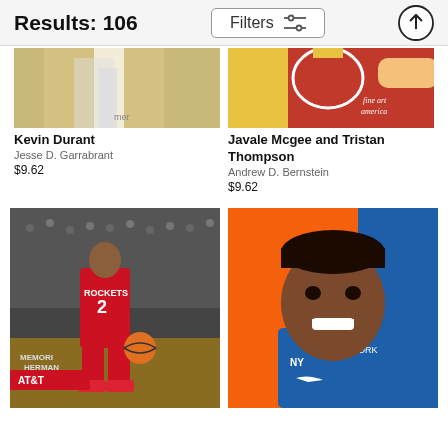Results: 106
Kevin Durant
Jesse D. Garrabrant
$9.62
Javale Mcgee and Tristan Thompson
Andrew D. Bernstein
$9.62
[Figure (photo): Basketball player in red Rockets #2 jersey dribbling at AT&T arena, Memorial Herman]
[Figure (photo): Smiling young basketball player in blue New York Knicks uniform at media day]